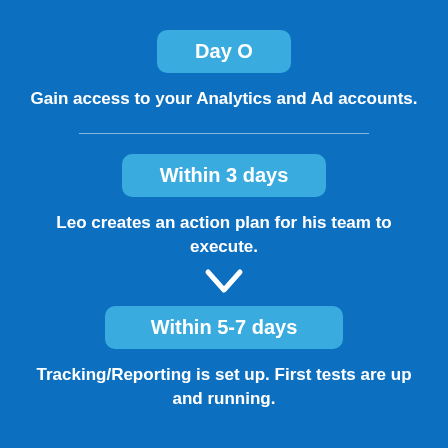Day 0
Gain access to your Analytics and Ad accounts.
Within 3 days
Leo creates an action plan for his team to execute.
Within 5-7 days
Tracking/Reporting is set up. First tests are up and running.